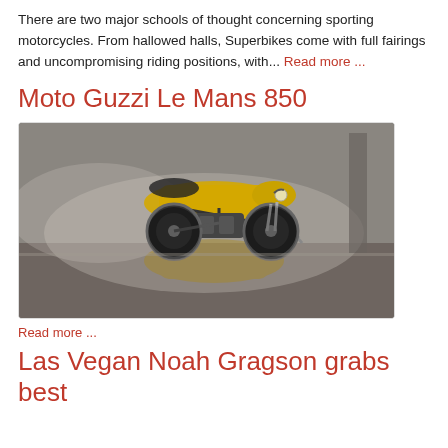There are two major schools of thought concerning sporting motorcycles. From hallowed halls, Superbikes come with full fairings and uncompromising riding positions, with... Read more ...
Moto Guzzi Le Mans 850
[Figure (photo): Yellow Moto Guzzi Le Mans 850 motorcycle in a smoky industrial setting with its reflection visible in water on the floor]
Read more ...
Las Vegan Noah Gragson grabs best